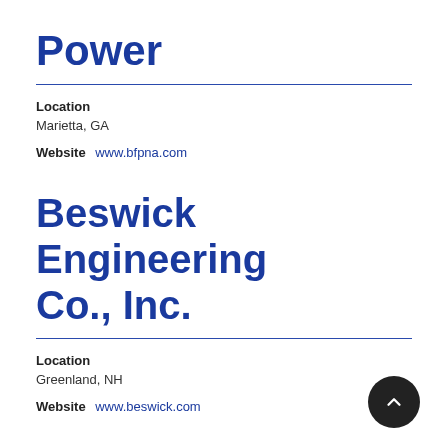Power
Location
Marietta, GA
Website  www.bfpna.com
Beswick Engineering Co., Inc.
Location
Greenland, NH
Website  www.beswick.com